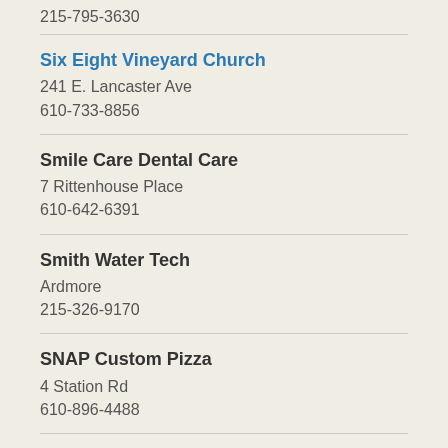215-795-3630
Six Eight Vineyard Church
241 E. Lancaster Ave
610-733-8856
Smile Care Dental Care
7 Rittenhouse Place
610-642-6391
Smith Water Tech
Ardmore
215-326-9170
SNAP Custom Pizza
4 Station Rd
610-896-4488